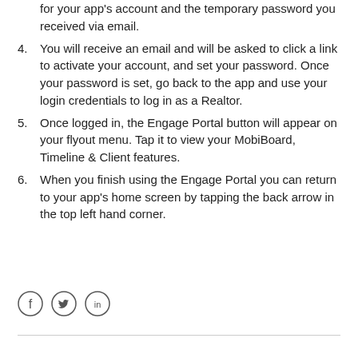(continued) for your app's account and the temporary password you received via email.
4. You will receive an email and will be asked to click a link to activate your account, and set your password. Once your password is set, go back to the app and use your login credentials to log in as a Realtor.
5. Once logged in, the Engage Portal button will appear on your flyout menu. Tap it to view your MobiBoard, Timeline & Client features.
6. When you finish using the Engage Portal you can return to your app's home screen by tapping the back arrow in the top left hand corner.
[Figure (illustration): Social media icons: Facebook, Twitter, LinkedIn in circular outlines]